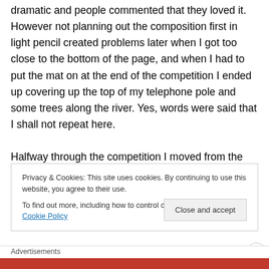dramatic and people commented that they loved it. However not planning out the composition first in light pencil created problems later when I got too close to the bottom of the page, and when I had to put the mat on at the end of the competition I ended up covering up the top of my telephone pole and some trees along the river. Yes, words were said that I shall not repeat here.

Halfway through the competition I moved from the ink drawing to watercolour. I kept telling people that it's easy, like a colouring book, just filling in my drawn areas. Ha!
Privacy & Cookies: This site uses cookies. By continuing to use this website, you agree to their use.
To find out more, including how to control cookies, see here: Cookie Policy
Advertisements